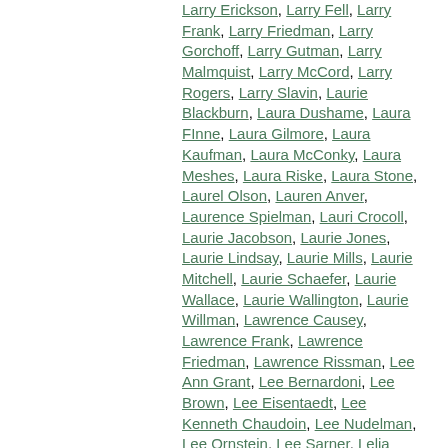Larry Erickson, Larry Fell, Larry Frank, Larry Friedman, Larry Gorchoff, Larry Gutman, Larry Malmquist, Larry McCord, Larry Rogers, Larry Slavin, Laurie Blackburn, Laura Dushame, Laura FInne, Laura Gilmore, Laura Kaufman, Laura McConky, Laura Meshes, Laura Riske, Laura Stone, Laurel Olson, Lauren Anver, Laurence Spielman, Lauri Crocoll, Laurie Jacobson, Laurie Jones, Laurie Lindsay, Laurie Mills, Laurie Mitchell, Laurie Schaefer, Laurie Wallace, Laurie Wallington, Laurie Willman, Lawrence Causey, Lawrence Frank, Lawrence Friedman, Lawrence Rissman, Lee Ann Grant, Lee Bernardoni, Lee Brown, Lee Eisentaedt, Lee Kenneth Chaudoin, Lee Nudelman, Lee Ornstein, Lee Sarner, Lelia Marchbank, Lennart Flodstrom, Lenore Reinhardt, Leo Vent, Leon Booth, Leon Saib, Leonard Kisellus, Les Cunningham, Les Klein, Les Libakken, Leslie Anderson, Leslie Cunningham, Leslie Greear, Leslie Holland, Leslie Jacobson, Leslie McBride, Leslie Mueller, Leslie Murphy, Leslie Pano, Leslie Raffel, Leslie Rosencranz, Leslie Sherman, Leslie Witt, Lewis Landry, Lewis Pizer, Linda Ann Hamel, Linda Baker, Linda Beisswenger, Linda Burrows, Linda Cope, Linda Evans, Linda Hamm, Linda Hangren,